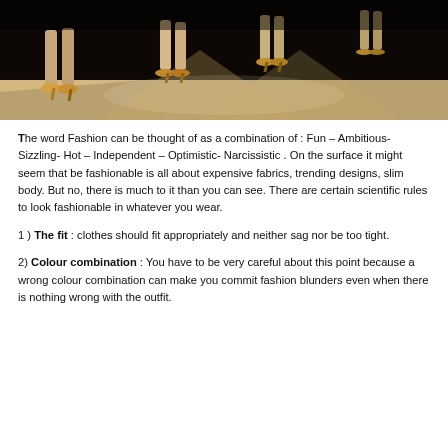[Figure (photo): Fashion runway photo showing models' legs and high heels walking on a catwalk, dark dramatic lighting]
The word Fashion can be thought of as a combination of : Fun – Ambitious- Sizzling- Hot – Independent – Optimistic- Narcissistic . On the surface it might seem that be fashionable is all about expensive fabrics, trending designs, slim body. But no, there is much to it than you can see. There are certain scientific rules to look fashionable in whatever you wear.
1 ) The fit : clothes should fit appropriately and neither sag nor be too tight.
2) Colour combination : You have to be very careful about this point because a wrong colour combination can make you commit fashion blunders even when there is nothing wrong with the outfit.